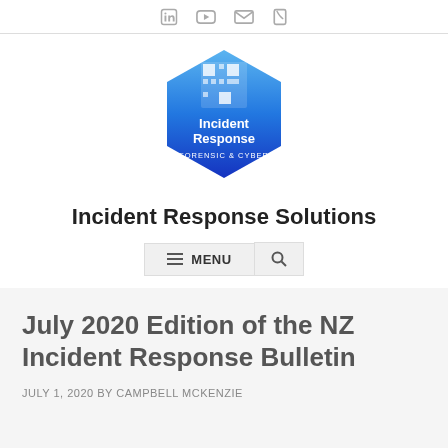Social icons: LinkedIn, YouTube, Email, Phone
[Figure (logo): Incident Response Forensic & Cyber hexagon logo with QR code, blue gradient background, white text reading 'Incident Response FORENSIC & CYBER']
Incident Response Solutions
[Figure (other): Menu navigation bar with hamburger icon, MENU text, and search icon]
July 2020 Edition of the NZ Incident Response Bulletin
JULY 1, 2020 BY CAMPBELL MCKENZIE